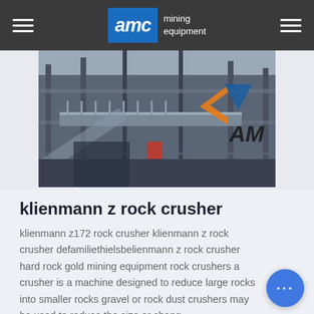AMC mining equipment
[Figure (photo): Industrial mining equipment facility showing elevated walkways, metal structures, and AMC logo visible on structure]
klienmann z rock crusher
klienmann z172 rock crusher klienmann z rock crusher defamiliethielsbelienmann z rock crusher hard rock gold mining equipment rock crushers a crusher is a machine designed to reduce large rocks into smaller rocks gravel or rock dust crushers may be used to reduce the size or chang...